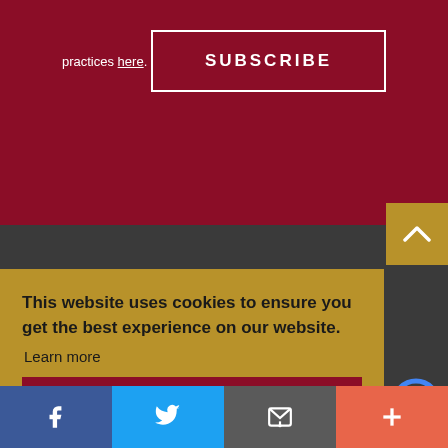practices here.
SUBSCRIBE
[Figure (screenshot): Gold square button with white upward chevron arrow]
This website uses cookies to ensure you get the best experience on our website. Learn more
Got it!
[Figure (logo): reCAPTCHA logo partial]
[Figure (infographic): Social sharing bar with Facebook, Twitter, email, and plus icons]